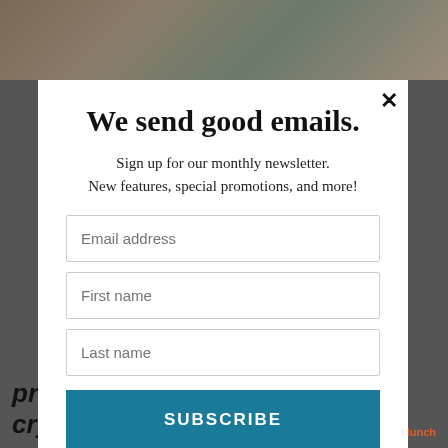[Figure (photo): Dark blurred background showing crystal/bottle items on a shelf, with bottom text partially visible reading 'properties that these crystals have to offer.' and a MailMunch powered-by badge in the bottom right.]
We send good emails.
Sign up for our monthly newsletter.
New features, special promotions, and more!
Email address
First name
Last name
SUBSCRIBE